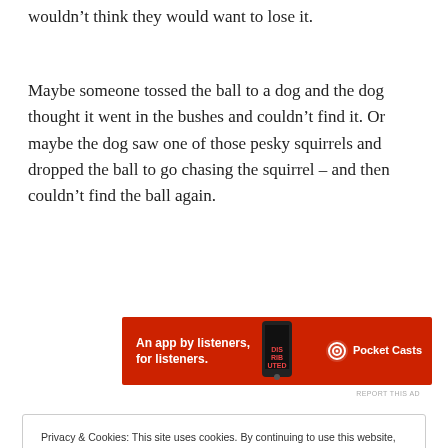wouldn't think they would want to lose it.
Maybe someone tossed the ball to a dog and the dog thought it went in the bushes and couldn't find it. Or maybe the dog saw one of those pesky squirrels and dropped the ball to go chasing the squirrel – and then couldn't find the ball again.
[Figure (other): Advertisement banner for Pocket Casts app: red background with text 'An app by listeners, for listeners.' and Pocket Casts logo with phone graphic]
Privacy & Cookies: This site uses cookies. By continuing to use this website, you agree to their use. To find out more, including how to control cookies, see here: Cookie Policy